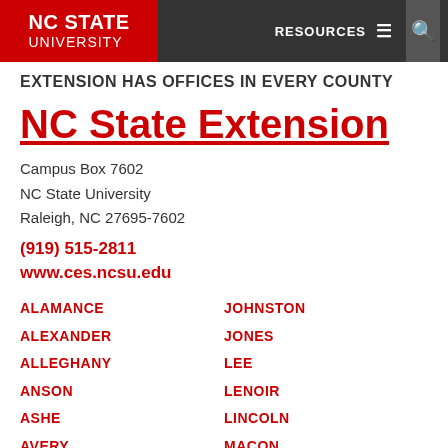NC STATE UNIVERSITY | RESOURCES ☰ 🔍
EXTENSION HAS OFFICES IN EVERY COUNTY
NC State Extension
Campus Box 7602
NC State University
Raleigh, NC 27695-7602
(919) 515-2811
www.ces.ncsu.edu
ALAMANCE
ALEXANDER
ALLEGHANY
ANSON
ASHE
AVERY
BEAUFORT
JOHNSTON
JONES
LEE
LENOIR
LINCOLN
MACON
MADISON
MARTIN